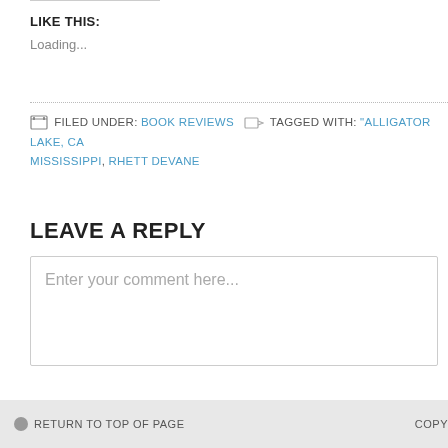LIKE THIS:
Loading...
FILED UNDER: BOOK REVIEWS  TAGGED WITH: "ALLIGATOR LAKE, CA MISSISSIPPI, RHETT DEVANE
LEAVE A REPLY
Enter your comment here...
RETURN TO TOP OF PAGE  COPY